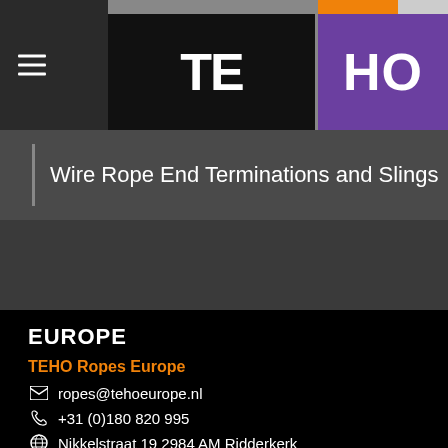[Figure (logo): TEHO logo with TE in black/dark background and HO in purple background, with colored top bar (gray, orange, white)]
Wire Rope End Terminations and Slings
EUROPE
TEHO Ropes Europe
ropes@tehoeurope.nl
+31 (0)180 820 995
Nikkelstraat 19 2984 AM Ridderkerk